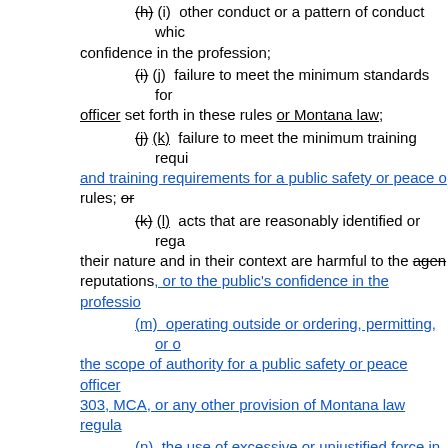(h) struck (i) other conduct or a pattern of conduct which confidence in the profession;
(i) struck (j) failure to meet the minimum standards for officer set forth in these rules or Montana law;
(j) struck (k) failure to meet the minimum training requirements and training requirements for a public safety or peace officer rules; or struck
(k) struck (l) acts that are reasonably identified or regarded their nature and in their context are harmful to the agency reputations, or to the public's confidence in the profession
(m) operating outside or ordering, permitting, or the scope of authority for a public safety or peace officer 303, MCA, or any other provision of Montana law regula
(n) the use of excessive or unjustified force in co
(o) the sanction, suspension, or revocation of an POST certification imposed by a board or committee equ
(3) Conviction of any felony, an offense which would of an offense for which the person could have been imp be cause for an automatic referral to the council for reve
AUTH: 2-15-2029, MCA
IMP: 2-15-2029, 44-4-403(1)(c), MCA
REASON: This amendment is reasonably necessary to behaviors that negatively affect an officer's abilities or th